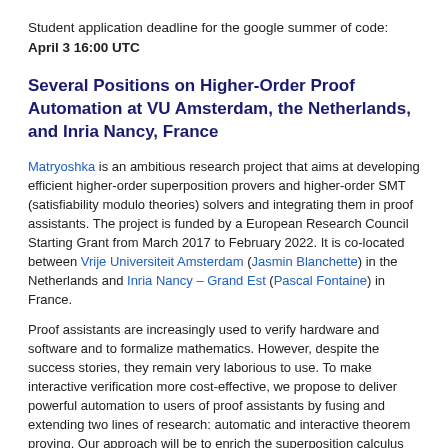Student application deadline for the google summer of code: April 3 16:00 UTC
Several Positions on Higher-Order Proof Automation at VU Amsterdam, the Netherlands, and Inria Nancy, France
Matryoshka is an ambitious research project that aims at developing efficient higher-order superposition provers and higher-order SMT (satisfiability modulo theories) solvers and integrating them in proof assistants. The project is funded by a European Research Council Starting Grant from March 2017 to February 2022. It is co-located between Vrije Universiteit Amsterdam (Jasmin Blanchette) in the Netherlands and Inria Nancy – Grand Est (Pascal Fontaine) in France.
Proof assistants are increasingly used to verify hardware and software and to formalize mathematics. However, despite the success stories, they remain very laborious to use. To make interactive verification more cost-effective, we propose to deliver powerful automation to users of proof assistants by fusing and extending two lines of research: automatic and interactive theorem proving. Our approach will be to enrich the superposition calculus and SMT with higher-order reasoning in a careful manner, to preserve their desirable properties. We will develop highly automatic provers building on modern superposition provers and SMT solvers, following a Russian doll architecture. To reach end users, these new provers will be integrated in proof assistants, including Coq, Isabelle/HOL, and the TLA+ Proof System.